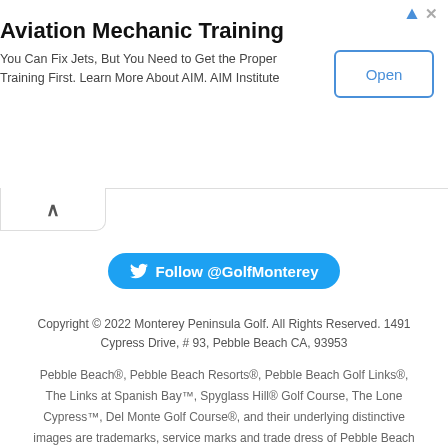[Figure (other): Advertisement banner for Aviation Mechanic Training with Open button]
Aviation Mechanic Training
You Can Fix Jets, But You Need to Get the Proper Training First. Learn More About AIM. AIM Institute
Follow @GolfMonterey
Copyright © 2022 Monterey Peninsula Golf. All Rights Reserved. 1491 Cypress Drive, # 93, Pebble Beach CA, 93953
Pebble Beach®, Pebble Beach Resorts®, Pebble Beach Golf Links®, The Links at Spanish Bay™, Spyglass Hill® Golf Course, The Lone Cypress™, Del Monte Golf Course®, and their underlying distinctive images are trademarks, service marks and trade dress of Pebble Beach Company. Used by permission.